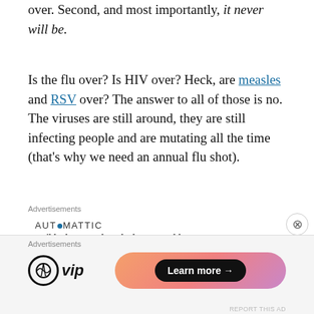over. Second, and most importantly, it never will be.
Is the flu over? Is HIV over? Heck, are measles and RSV over? The answer to all of those is no. The viruses are still around, they are still infecting people and are mutating all the time (that's why we need an annual flu shot).
[Figure (other): Automattic advertisement: AUTOMATTIC logo with tagline 'Build a better web and a better world.']
There are always a certain amount of these
[Figure (other): WordPress VIP advertisement with 'Learn more →' button on gradient background]